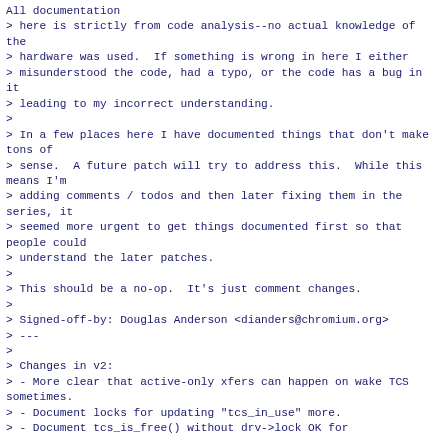All documentation
> here is strictly from code analysis--no actual knowledge of the
> hardware was used.  If something is wrong in here I either
> misunderstood the code, had a typo, or the code has a bug in it
> leading to my incorrect understanding.
>
> In a few places here I have documented things that don't make tons of
> sense.  A future patch will try to address this.  While this means I'm
> adding comments / todos and then later fixing them in the series, it
> seemed more urgent to get things documented first so that people could
> understand the later patches.
>
> This should be a no-op.  It's just comment changes.
>
> Signed-off-by: Douglas Anderson <dianders@chromium.org>
> ---
>
> Changes in v2:
> - More clear that active-only xfers can happen on wake TCS sometimes.
> - Document locks for updating "tcs_in_use" more.
> - Document tcs_is_free() without drv->lock OK for